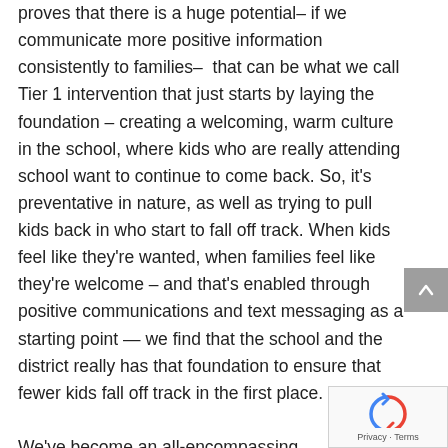proves that there is a huge potential– if we communicate more positive information consistently to families–  that can be what we call Tier 1 intervention that just starts by laying the foundation – creating a welcoming, warm culture in the school, where kids who are really attending school want to continue to come back. So, it's preventative in nature, as well as trying to pull kids back in who start to fall off track. When kids feel like they're wanted, when families feel like they're welcome – and that's enabled through positive communications and text messaging as a starting point — we find that the school and the district really has that foundation to ensure that fewer kids fall off track in the first place.

We've become an all-encompassing